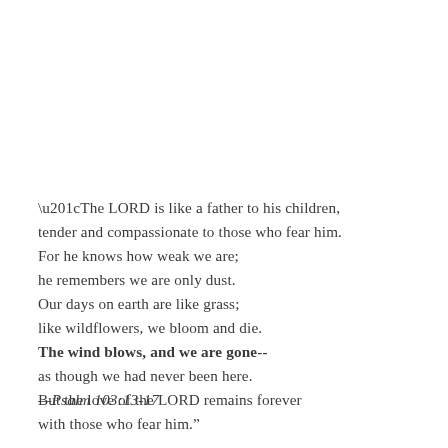“The LORD is like a father to his children, tender and compassionate to those who fear him. For he knows how weak we are; he remembers we are only dust. Our days on earth are like grass; like wildflowers, we bloom and die. The wind blows, and we are gone-- as though we had never been here. But the love of the LORD remains forever with those who fear him.”
—Psalm 103:13-17